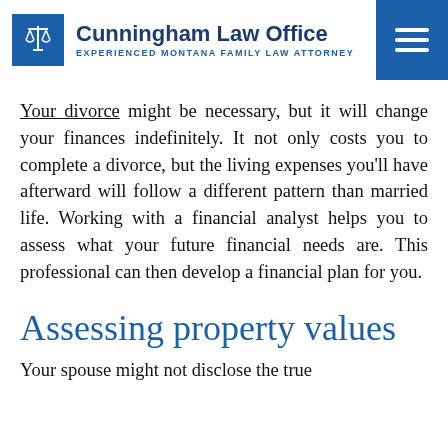Cunningham Law Office — EXPERIENCED MONTANA FAMILY LAW ATTORNEY
Your divorce might be necessary, but it will change your finances indefinitely. It not only costs you to complete a divorce, but the living expenses you'll have afterward will follow a different pattern than married life. Working with a financial analyst helps you to assess what your future financial needs are. This professional can then develop a financial plan for you.
Assessing property values
Your spouse might not disclose the true